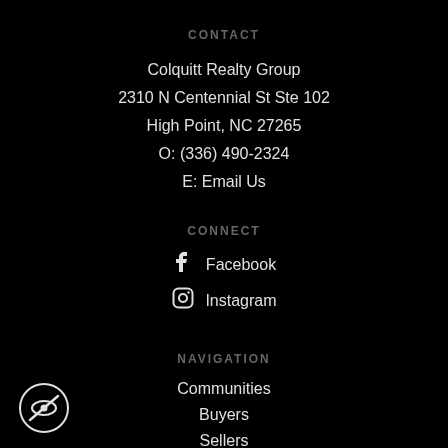CONTACT
Colquitt Realty Group
2310 N Centennial St Ste 102
High Point, NC 27265
O: (336) 490-2324
E: Email Us
CONNECT
Facebook
Instagram
NAVIGATION
Communities
Buyers
Sellers
Meet Our Team
[Figure (logo): Circular logo with an eye with a diagonal line through it (hidden/private eye icon) in white on black background]